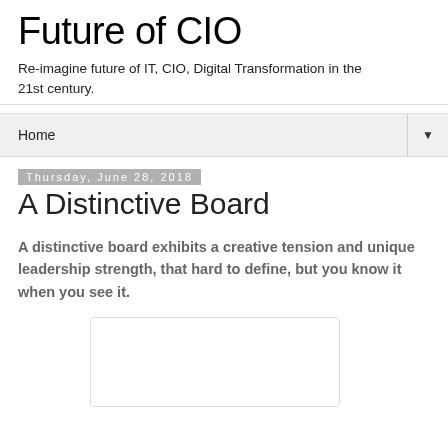Future of CIO
Re-imagine future of IT, CIO, Digital Transformation in the 21st century.
Home ▼
Thursday, June 28, 2018
A Distinctive Board
A distinctive board exhibits a creative tension and unique leadership strength, that hard to define, but you know it when you see it.
[Figure (other): Empty white placeholder image box with rounded corners and border]